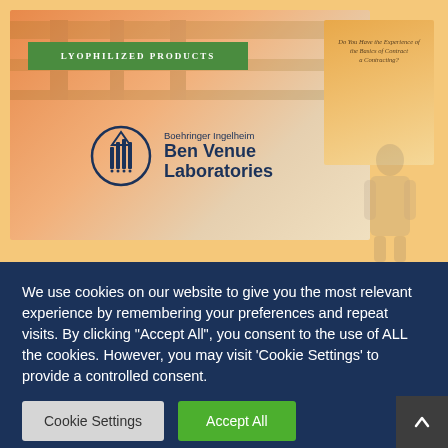[Figure (screenshot): Ben Venue Laboratories (Boehringer Ingelheim) promotional image showing brochures with a Lyophilized Products green band label and the company logo with circular icon featuring columns/vials, overlaid on a warm orange-tan background with a worker in cleanroom gear visible at the right.]
We use cookies on our website to give you the most relevant experience by remembering your preferences and repeat visits. By clicking "Accept All", you consent to the use of ALL the cookies. However, you may visit 'Cookie Settings' to provide a controlled consent.
Cookie Settings
Accept All